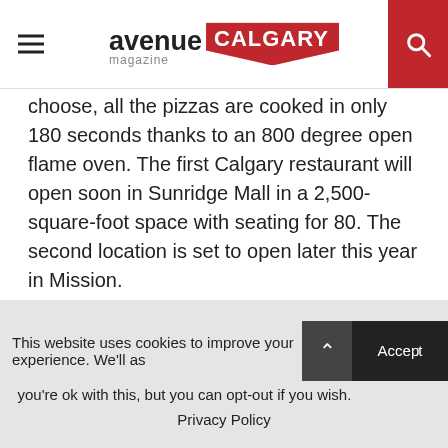avenue magazine CALGARY
choose, all the pizzas are cooked in only 180 seconds thanks to an 800 degree open flame oven. The first Calgary restaurant will open soon in Sunridge Mall in a 2,500-square-foot space with seating for 80. The second location is set to open later this year in Mission.
Sunridge Mall, 2525 36 St. N.E., blazepizza.com, @blazepizza
Earth Cravings
This website uses cookies to improve your experience. We'll as you're ok with this, but you can opt-out if you wish. Accept Privacy Policy